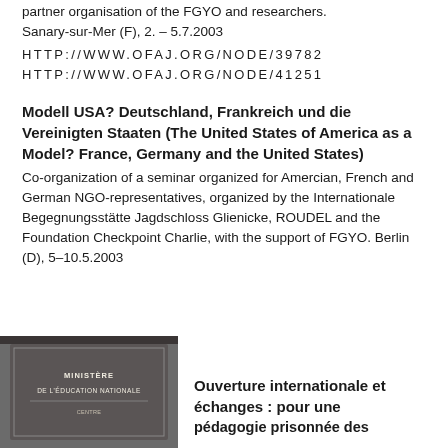partner organisation of the FGYO and researchers. Sanary-sur-Mer (F), 2. – 5.7.2003
HTTP://WWW.OFAJ.ORG/NODE/39782
HTTP://WWW.OFAJ.ORG/NODE/41251
Modell USA? Deutschland, Frankreich und die Vereinigten Staaten (The United States of America as a Model? France, Germany and the United States)
Co-organization of a seminar organized for Amercian, French and German NGO-representatives, organized by the Internationale Begegnungsstätte Jagdschloss Glienicke, ROUDEL and the Foundation Checkpoint Charlie, with the support of FGYO. Berlin (D), 5–10.5.2003
[Figure (photo): Photo of a wall plaque reading MINISTÈRE DE L'ÉDUCATION NATIONALE with additional text below]
Ouverture internationale et échanges : pour une pédagogie prisonnée des